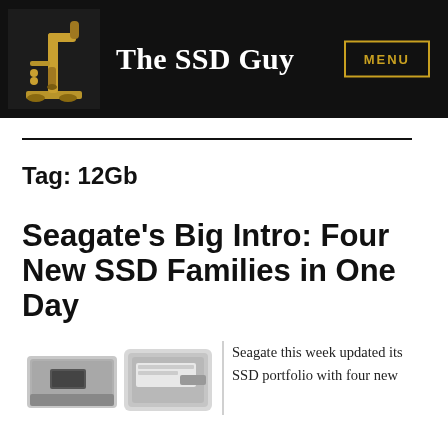The SSD Guy
Tag: 12Gb
Seagate’s Big Intro: Four New SSD Families in One Day
Seagate this week updated its SSD portfolio with four new